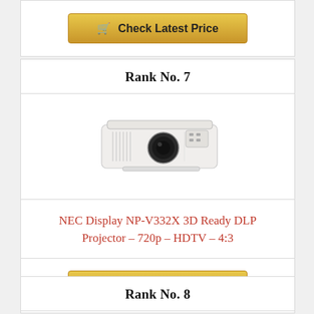[Figure (other): Golden 'Check Latest Price' button with shopping cart icon at top of page]
Rank No. 7
[Figure (photo): NEC Display NP-V332X white DLP projector product photo]
NEC Display NP-V332X 3D Ready DLP Projector – 720p – HDTV – 4:3
[Figure (other): Golden 'Check Latest Price' button with shopping cart icon]
Rank No. 8